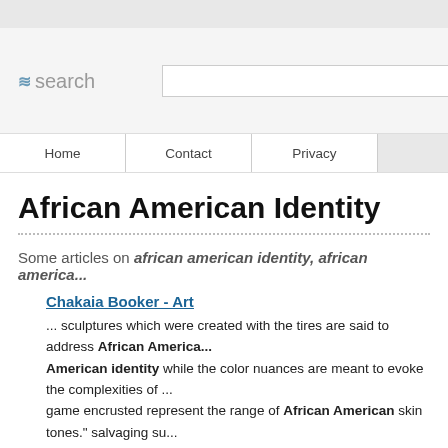search
Home | Contact | Privacy
African American Identity
Some articles on african american identity, african america...
Chakaia Booker - Art
... sculptures which were created with the tires are said to address African America... American identity while the color nuances are meant to evoke the complexities of ... game encrusted represent the range of African American skin tones." salvaging su...